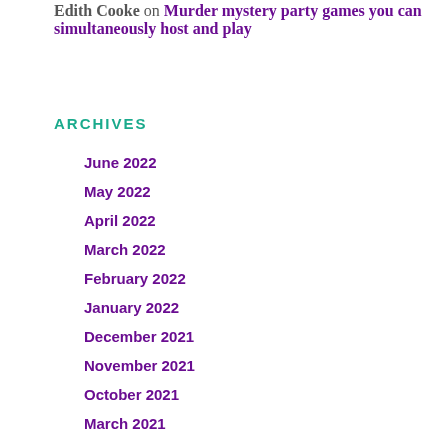Edith Cooke on Murder mystery party games you can simultaneously host and play
ARCHIVES
June 2022
May 2022
April 2022
March 2022
February 2022
January 2022
December 2021
November 2021
October 2021
March 2021
January 2021
November 2020
October 2020